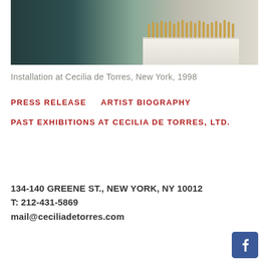[Figure (photo): Gallery installation photo showing small golden figurine sculptures arranged on a white pedestal, with a dark teal/grey background wall. Installation at Cecilia de Torres, New York, 1998.]
Installation at Cecilia de Torres, New York, 1998
PRESS RELEASE    ARTIST BIOGRAPHY
PAST EXHIBITIONS AT CECILIA DE TORRES, LTD.
134-140 GREENE ST., NEW YORK, NY 10012
T: 212-431-5869
mail@ceciliadetorres.com